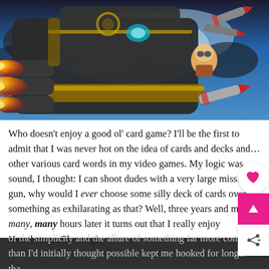[Figure (illustration): Fantasy game artwork showing a mechanical giant robot/mech with large gun barrels firing flames and missiles, with a small character (yordle-like) in the foreground, rockets flying through a dramatic sky background.]
Who doesn't enjoy a good ol' card game? I'll be the first to admit that I was never hot on the idea of cards and decks and…other various card words in my video games. My logic was sound, I thought: I can shoot dudes with a very large missile gun, why would I ever choose some silly deck of cards over something as exhilarating as that? Well, three years and many, many, many hours later it turns out that I really enjoy Hearthstone. The magi of the simplicity and the allure of something far more complex than I'd initially thought possible kept me hooked for longer than